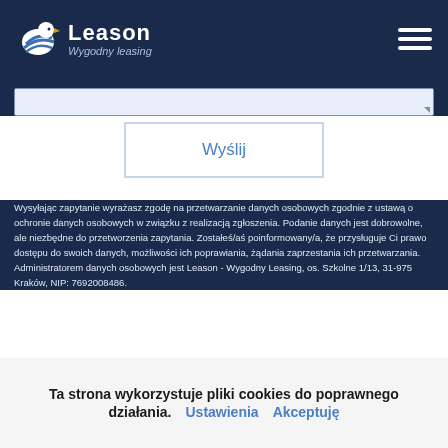[Figure (logo): Leason Wygodny leasing logo with bird icon and hamburger menu icon]
Wyślij
Wysyłając zapytanie wyrażasz zgodę na przetwarzanie danych osobowych zgodnie z ustawą o ochronie danych osobowych w związku z realizacją zgłoszenia. Podanie danych jest dobrowolne, ale niezbędne do przetworzenia zapytania. Zostałeś/aś poinformowany/a, że przysługuje Ci prawo dostępu do swoich danych, możliwości ich poprawiania, żądania zaprzestania ich przetwarzania. Administratorem danych osobowych jest Leason - Wygodny Leasing, os. Szkolne 1/13, 31-975 Kraków, NIP: 7692008486.
Ta strona wykorzystuje pliki cookies do poprawnego działania. Ustawienia Akceptuję